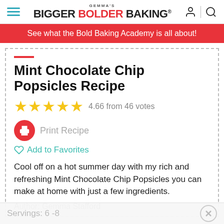GEMMA'S BIGGER BOLDER BAKING®
See what the Bold Baking Academy is all about!
Mint Chocolate Chip Popsicles Recipe
4.66 from 46 votes
Print Recipe
Add to Favorites
Cool off on a hot summer day with my rich and refreshing Mint Chocolate Chip Popsicles you can make at home with just a few ingredients.
Author: Gemma Stafford
Servings: 6 -8